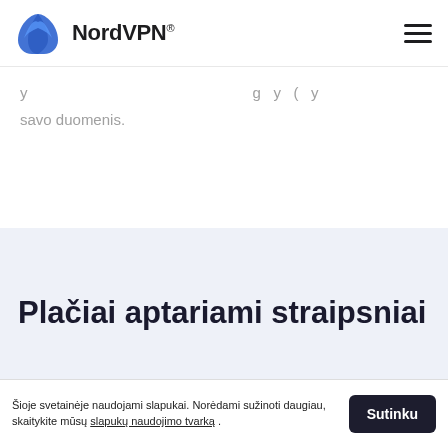NordVPN®
y ... g y ( y savo duomenis.
Plačiai aptariami straipsniai
Šioje svetainėje naudojami slapukai. Norėdami sužinoti daugiau, skaitykite mūsų slapukų naudojimo tvarką.